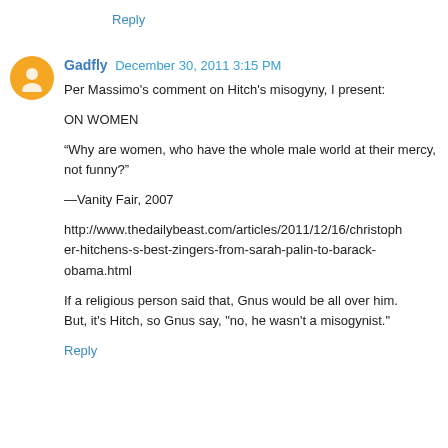Reply
Gadfly  December 30, 2011 3:15 PM
Per Massimo's comment on Hitch's misogyny, I present:

ON WOMEN

“Why are women, who have the whole male world at their mercy, not funny?”

—Vanity Fair, 2007

http://www.thedailybeast.com/articles/2011/12/16/christopher-hitchens-s-best-zingers-from-sarah-palin-to-barack-obama.html

If a religious person said that, Gnus would be all over him. But, it's Hitch, so Gnus say, "no, he wasn't a misogynist."
Reply